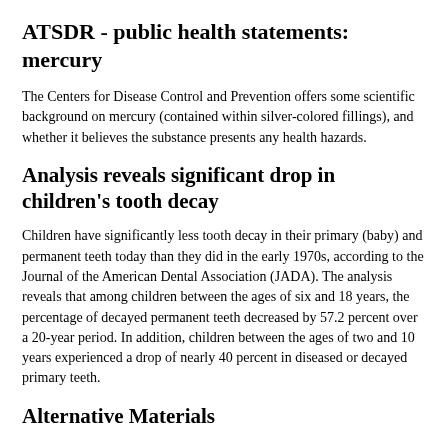ATSDR - public health statements: mercury
The Centers for Disease Control and Prevention offers some scientific background on mercury (contained within silver-colored fillings), and whether it believes the substance presents any health hazards.
Analysis reveals significant drop in children's tooth decay
Children have significantly less tooth decay in their primary (baby) and permanent teeth today than they did in the early 1970s, according to the Journal of the American Dental Association (JADA). The analysis reveals that among children between the ages of six and 18 years, the percentage of decayed permanent teeth decreased by 57.2 percent over a 20-year period. In addition, children between the ages of two and 10 years experienced a drop of nearly 40 percent in diseased or decayed primary teeth.
Alternative Materials